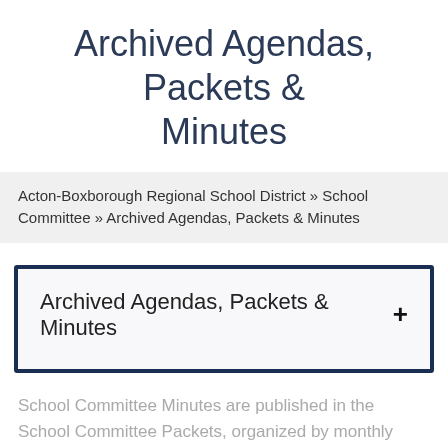Archived Agendas, Packets & Minutes
Acton-Boxborough Regional School District » School Committee » Archived Agendas, Packets & Minutes
Archived Agendas, Packets & Minutes +
School Committee Minutes are published in the School Committee Packets, organized by monthly meetings.
School Committee Meetings 2021-2022